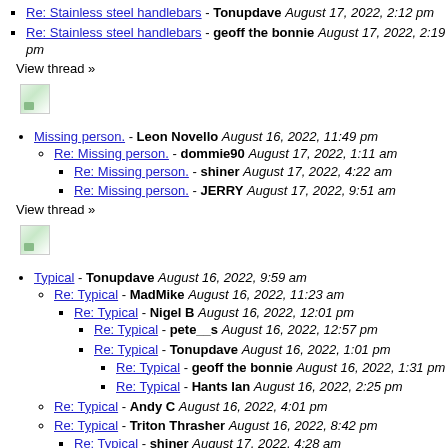Re: Stainless steel handlebars - Tonupdave August 17, 2022, 2:12 pm
Re: Stainless steel handlebars - geoff the bonnie August 17, 2022, 2:19 pm
View thread »
[Figure (illustration): Broken/placeholder image icon]
Missing person. - Leon Novello August 16, 2022, 11:49 pm
Re: Missing person. - dommie90 August 17, 2022, 1:11 am
Re: Missing person. - shiner August 17, 2022, 4:22 am
Re: Missing person. - JERRY August 17, 2022, 9:51 am
View thread »
[Figure (illustration): Broken/placeholder image icon]
Typical - Tonupdave August 16, 2022, 9:59 am
Re: Typical - MadMike August 16, 2022, 11:23 am
Re: Typical - Nigel B August 16, 2022, 12:01 pm
Re: Typical - pete__s August 16, 2022, 12:57 pm
Re: Typical - Tonupdave August 16, 2022, 1:01 pm
Re: Typical - geoff the bonnie August 16, 2022, 1:31 pm
Re: Typical - Hants Ian August 16, 2022, 2:25 pm
Re: Typical - Andy C August 16, 2022, 4:01 pm
Re: Typical - Triton Thrasher August 16, 2022, 8:42 pm
Re: Typical - shiner August 17, 2022, 4:28 am
Re: Typical - Leon Novello August 16, 2022, 11:35 pm